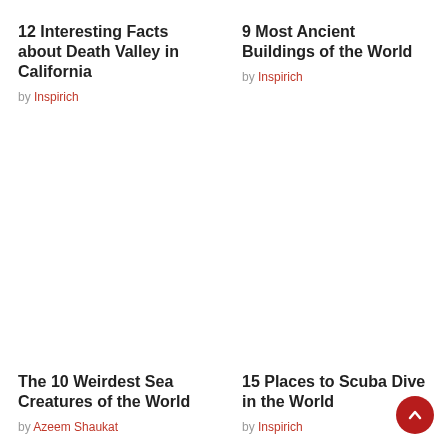12 Interesting Facts about Death Valley in California
by Inspirich
9 Most Ancient Buildings of the World
by Inspirich
The 10 Weirdest Sea Creatures of the World
by Azeem Shaukat
15 Places to Scuba Dive in the World
by Inspirich